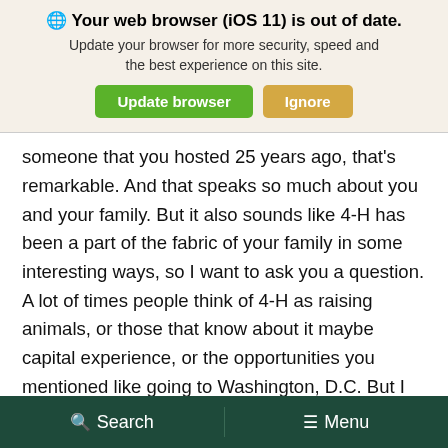[Figure (screenshot): Browser update notification banner with globe icon, bold heading 'Your web browser (iOS 11) is out of date.', subtext 'Update your browser for more security, speed and the best experience on this site.', and two buttons: green 'Update browser' and tan 'Ignore'.]
someone that you hosted 25 years ago, that's remarkable. And that speaks so much about you and your family. But it also sounds like 4-H has been a part of the fabric of your family in some interesting ways, so I want to ask you a question. A lot of times people think of 4-H as raising animals, or those that know about it maybe capital experience, or the opportunities you mentioned like going to Washington, D.C. But I think those that are close to 4-H know that it teaches a lot more than that. Could you talk about some of the things that you think your daughters benefited from, and what
Search   Menu